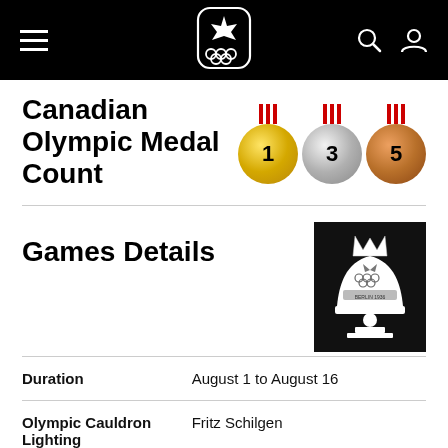Canadian Olympic Committee navigation bar with logo, search, and profile icons
Canadian Olympic Medal Count
[Figure (infographic): Three Olympic medals (gold: 1, silver: 3, bronze: 5) with red ribbons]
Games Details
[Figure (logo): 1936 Berlin Olympics bell logo on black background]
|  |  |
| --- | --- |
| Duration | August 1 to August 16 |
| Olympic Cauldron Lighting | Fritz Schilgen |